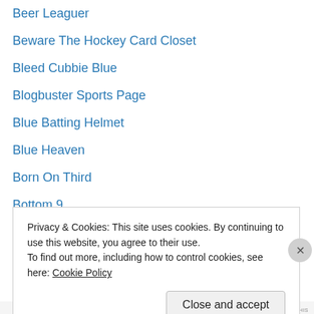Beer Leaguer
Beware The Hockey Card Closet
Bleed Cubbie Blue
Blogbuster Sports Page
Blue Batting Helmet
Blue Heaven
Born On Third
Bottom 9
Boys of Summer
Braves Journal
Bronx Bombers Beat
Bullpen Brian
Call of the Green Monster
Can't Have Too Many Cards
Privacy & Cookies: This site uses cookies. By continuing to use this website, you agree to their use. To find out more, including how to control cookies, see here: Cookie Policy
Close and accept